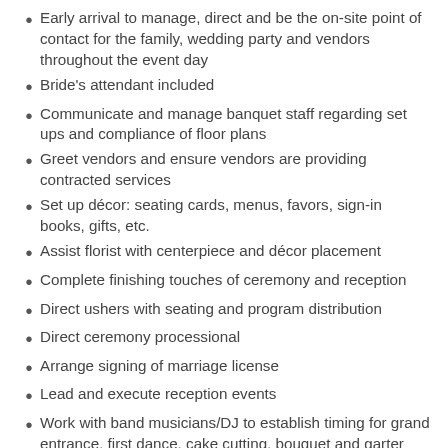Early arrival to manage, direct and be the on-site point of contact for the family, wedding party and vendors throughout the event day
Bride’s attendant included
Communicate and manage banquet staff regarding set ups and compliance of floor plans
Greet vendors and ensure vendors are providing contracted services
Set up décor: seating cards, menus, favors, sign-in books, gifts, etc.
Assist florist with centerpiece and décor placement
Complete finishing touches of ceremony and reception
Direct ushers with seating and program distribution
Direct ceremony processional
Arrange signing of marriage license
Lead and execute reception events
Work with band musicians/DJ to establish timing for grand entrance, first dance, cake cutting, bouquet and garter toss, and last dance
Take care of specialty items and gifts are packed up at the end of the event.
Prepare and handle final payments and gratuities to